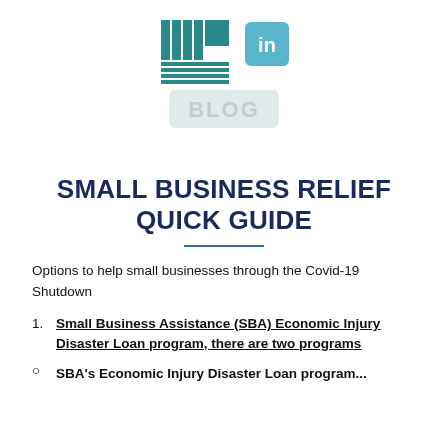[Figure (logo): Teal grid/table logo icon and LinkedIn logo icon]
[Figure (logo): BLOG label in teal rounded rectangle]
SMALL BUSINESS RELIEF QUICK GUIDE
Options to help small businesses through the Covid-19 Shutdown
Small Business Assistance (SBA) Economic Injury Disaster Loan program, there are two programs
SBA's Economic Injury Disaster Loan program...